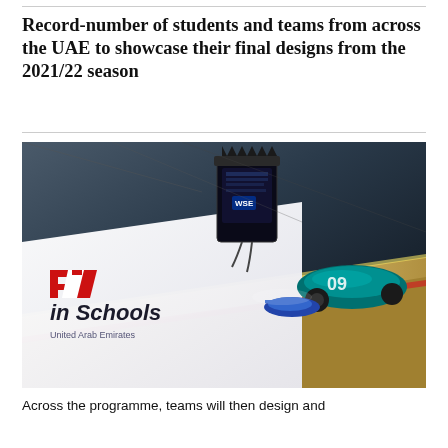Record-number of students and teams from across the UAE to showcase their final designs from the 2021/22 season
[Figure (photo): Close-up photograph of F1 in Schools UAE model cars on a race track with 'F1 in Schools United Arab Emirates' branding visible on a white banner in the foreground. A miniature Formula 1 style car is visible on the track with another teal-colored car in the background.]
Across the programme, teams will then design and